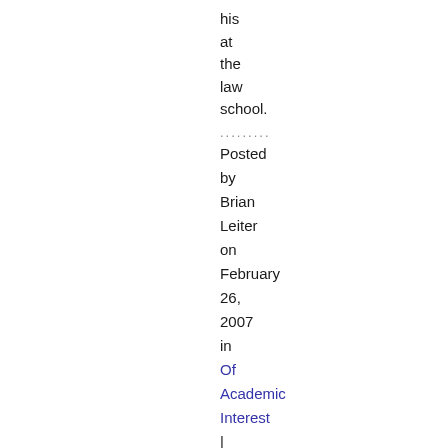his at the law school.
.......... Posted by Brian Leiter on February 26, 2007 in Of Academic Interest | Permalink | TrackBack
February 21, 2007
Twerski to Step Down as